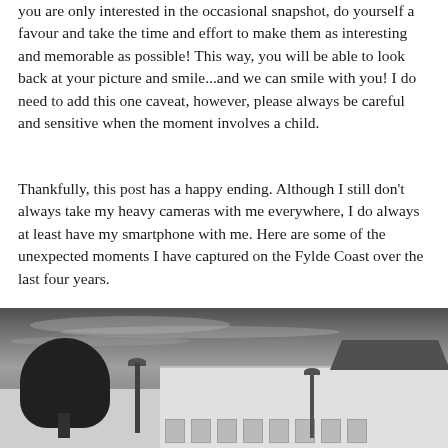you are only interested in the occasional snapshot, do yourself a favour and take the time and effort to make them as interesting and memorable as possible! This way, you will be able to look back at your picture and smile...and we can smile with you! I do need to add this one caveat, however, please always be careful and sensitive when the moment involves a child.
Thankfully, this post has a happy ending. Although I still don't always take my heavy cameras with me everywhere, I do always at least have my smartphone with me. Here are some of the unexpected moments I have captured on the Fylde Coast over the last four years.
[Figure (photo): Black and white photograph of a street scene on the Fylde Coast, showing white Georgian-style buildings with sash windows, trees on the left side, lamp posts, and a dramatic cloudy sky.]